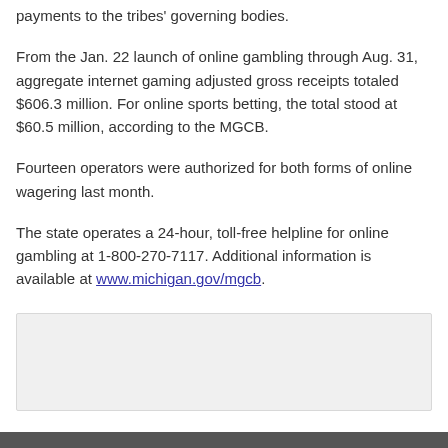payments to the tribes' governing bodies.
From the Jan. 22 launch of online gambling through Aug. 31, aggregate internet gaming adjusted gross receipts totaled $606.3 million. For online sports betting, the total stood at $60.5 million, according to the MGCB.
Fourteen operators were authorized for both forms of online wagering last month.
The state operates a 24-hour, toll-free helpline for online gambling at 1-800-270-7117. Additional information is available at www.michigan.gov/mgcb.
[Figure (other): Light gray rectangular box, likely an image or advertisement placeholder]